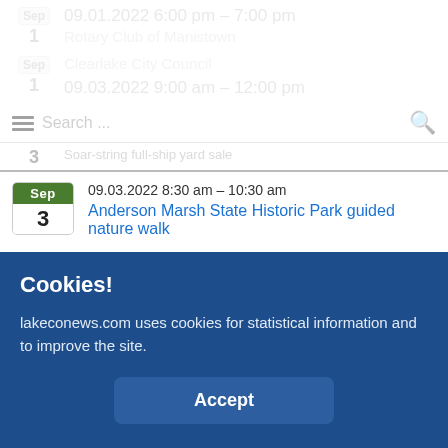1  Rotary Club of Manistown  09.01.2022 6:00 pm – 7:00 pm
1  Clearlake City Council  09.03.2022 9:00 am – 12:00 pm
3  Soar-string full-ship yard sale
09.03.2022 8:30 am – 10:30 am  Anderson Marsh State Historic Park guided nature walk
09.03.2022 9:00 am – 11:00 am  Junior Ranger Program: Lake ecology
09.03.2022 10:00 am – 1:00 pm
Cookies!
lakeconews.com uses cookies for statistical information and to improve the site.
Accept